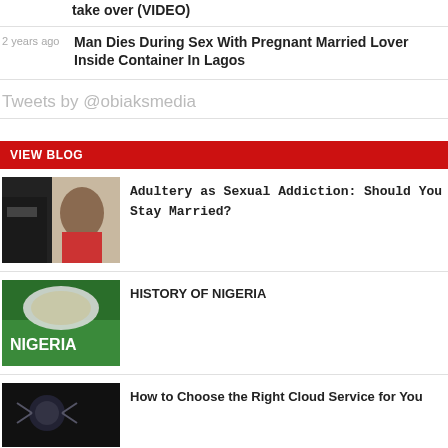take over (VIDEO)
2 years ago  Man Dies During Sex With Pregnant Married Lover Inside Container In Lagos
Tweets by @obiaksmedia
VIEW BLOG
Adultery as Sexual Addiction: Should You Stay Married?
HISTORY OF NIGERIA
How to Choose the Right Cloud Service for You